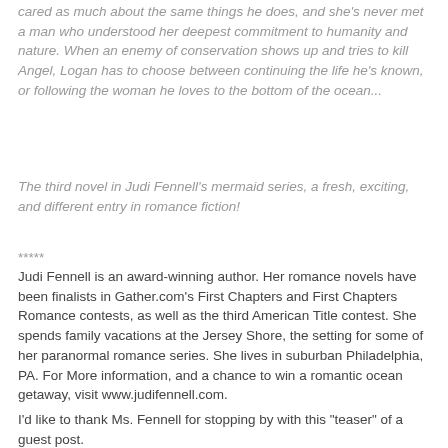cared as much about the same things he does, and she's never met a man who understood her deepest commitment to humanity and nature. When an enemy of conservation shows up and tries to kill Angel, Logan has to choose between continuing the life he's known, or following the woman he loves to the bottom of the ocean...
The third novel in Judi Fennell's mermaid series, a fresh, exciting, and different entry in romance fiction!
*****
Judi Fennell is an award-winning author. Her romance novels have been finalists in Gather.com's First Chapters and First Chapters Romance contests, as well as the third American Title contest. She spends family vacations at the Jersey Shore, the setting for some of her paranormal romance series. She lives in suburban Philadelphia, PA. For More information, and a chance to win a romantic ocean getaway, visit www.judifennell.com.
I'd like to thank Ms. Fennell for stopping by with this "teaser" of a guest post.